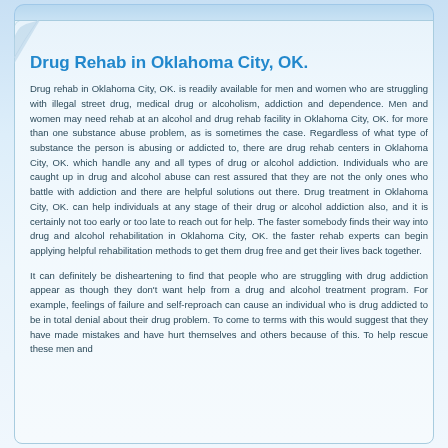Drug Rehab in Oklahoma City, OK.
Drug rehab in Oklahoma City, OK. is readily available for men and women who are struggling with illegal street drug, medical drug or alcoholism, addiction and dependence. Men and women may need rehab at an alcohol and drug rehab facility in Oklahoma City, OK. for more than one substance abuse problem, as is sometimes the case. Regardless of what type of substance the person is abusing or addicted to, there are drug rehab centers in Oklahoma City, OK. which handle any and all types of drug or alcohol addiction. Individuals who are caught up in drug and alcohol abuse can rest assured that they are not the only ones who battle with addiction and there are helpful solutions out there. Drug treatment in Oklahoma City, OK. can help individuals at any stage of their drug or alcohol addiction also, and it is certainly not too early or too late to reach out for help. The faster somebody finds their way into drug and alcohol rehabilitation in Oklahoma City, OK. the faster rehab experts can begin applying helpful rehabilitation methods to get them drug free and get their lives back together.
It can definitely be disheartening to find that people who are struggling with drug addiction appear as though they don't want help from a drug and alcohol treatment program. For example, feelings of failure and self-reproach can cause an individual who is drug addicted to be in total denial about their drug problem. To come to terms with this would suggest that they have made mistakes and have hurt themselves and others because of this. To help rescue these men and